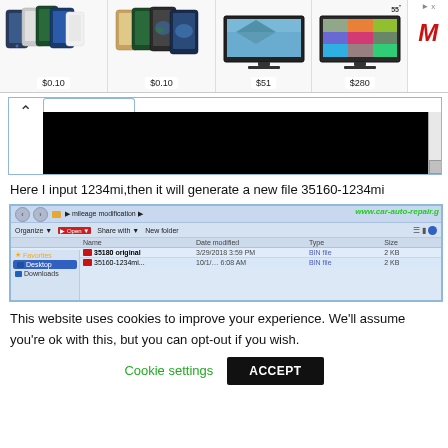[Figure (screenshot): Advertisement banner showing smartphone and TV product listings with prices: two iPhone groups at $0.10 each, a TV at $51, a 55-inch TV at $280, and a retailer logo]
[Figure (screenshot): Scrollable content area with black background and scroll chevron on left]
Here I input 1234mi,then it will generate a new file 35160-1234mi
[Figure (screenshot): Windows file explorer showing mileage modification folder with files: 35180 original and 35160-1234mi, with www.car-auto-repair.g watermark]
This website uses cookies to improve your experience. We'll assume you're ok with this, but you can opt-out if you wish.
Cookie settings   ACCEPT